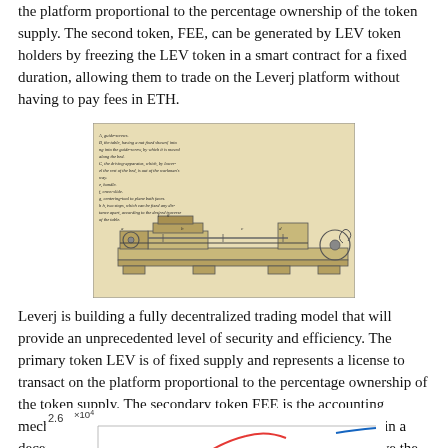the platform proportional to the percentage ownership of the token supply. The second token, FEE, can be generated by LEV token holders by freezing the LEV token in a smart contract for a fixed duration, allowing them to trade on the Leverj platform without having to pay fees in ETH.
[Figure (engineering-diagram): An antique mechanical engineering diagram showing a lathe or similar precision machine tool with labeled parts including a sliding carriage, screws, cross-slide, and stops. Text annotations describe the parts in small cursive writing on the left side.]
Leverj is building a fully decentralized trading model that will provide an unprecedented level of security and efficiency. The primary token LEV is of fixed supply and represents a license to transact on the platform proportional to the percentage ownership of the token supply. The secondary token FEE is the accounting mechanism to ensure the right of FEE can be exercised fully in a decentralized manner. LEV can be utilized to stake and receive the FEE created proportional to platform volume.
[Figure (continuous-plot): A line chart with y-axis starting at 2.6 ×10^4 (with label 2.6 and ×10^4 notation) showing multiple colored curves (green/yellow, red/pink, blue) partially visible at the bottom of the page. The x-axis and full data range are cut off.]